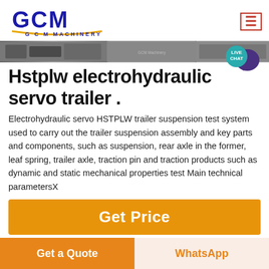[Figure (logo): GCM Machinery logo with stylized blue GCM letters and gold underline, text G C M MACHINERY below]
[Figure (photo): Horizontal strip of three banner photos showing industrial machinery and factory settings, with GCM Machinery branding]
Hstplw electrohydraulic servo trailer .
Electrohydraulic servo HSTPLW trailer suspension test system used to carry out the trailer suspension assembly and key parts and components, such as suspension, rear axle in the former, leaf spring, trailer axle, traction pin and traction products such as dynamic and static mechanical properties test Main technical parameters×
Get Price
[Figure (photo): Three product images showing industrial testing equipment and machinery]
Get a Quote
WhatsApp